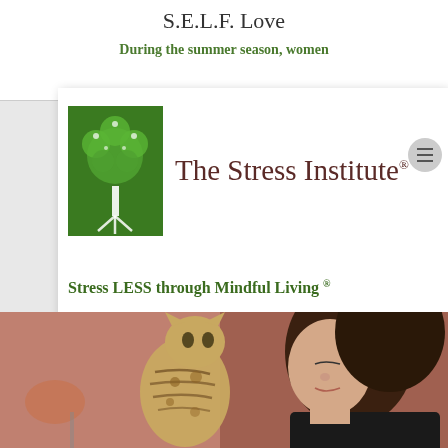S.E.L.F. Love
During the summer season, women
[Figure (logo): The Stress Institute logo: green tree/plant emblem with text 'The Stress Institute' and registered trademark symbol]
Stress LESS through Mindful Living ®
[Figure (photo): A woman with dark hair leaning toward a spotted/striped cat (Bengal cat), touching noses, in a warm indoor setting]